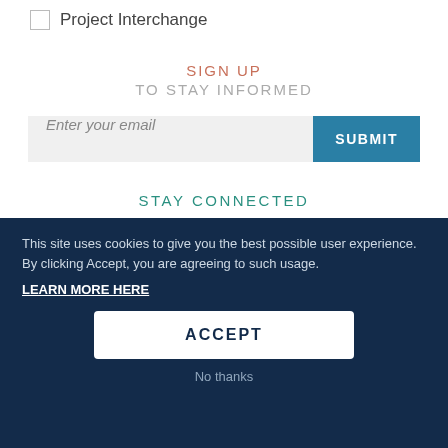Project Interchange
SIGN UP
TO STAY INFORMED
[Figure (screenshot): Email input field with placeholder 'Enter your email' and a teal SUBMIT button]
STAY CONNECTED
[Figure (infographic): Four circular social media icons: Twitter, Facebook, Instagram, YouTube]
This site uses cookies to give you the best possible user experience.  By clicking Accept, you are agreeing to such usage.
LEARN MORE HERE
ACCEPT
No thanks